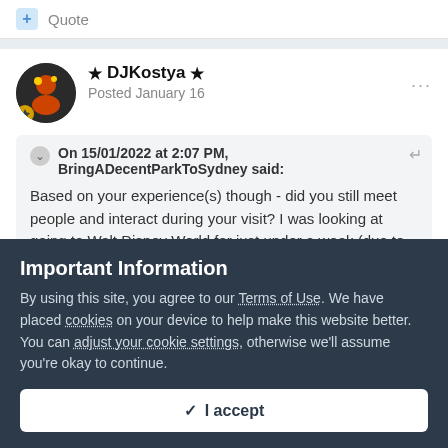+ Quote
★ DJKostya ★
Posted January 16
On 15/01/2022 at 2:07 PM, BringADecentParkToSydney said:
Based on your experience(s) though - did you still meet people and interact during your visit? I was looking at going to Walt Disney World for just under a week (due to its sheer
Important Information
By using this site, you agree to our Terms of Use. We have placed cookies on your device to help make this website better. You can adjust your cookie settings, otherwise we'll assume you're okay to continue.
✓ I accept